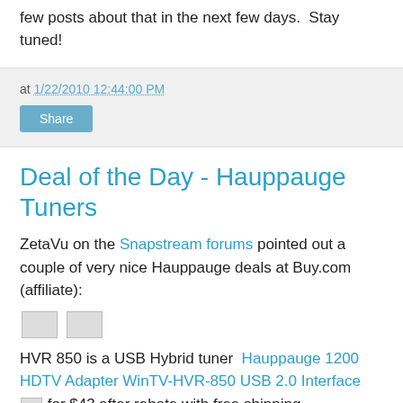few posts about that in the next few days.  Stay tuned!
at 1/22/2010 12:44:00 PM
Share
Deal of the Day - Hauppauge Tuners
ZetaVu on the Snapstream forums pointed out a couple of very nice Hauppauge deals at Buy.com (affiliate):
[Figure (photo): Two small placeholder images for product photos]
HVR 850 is a USB Hybrid tuner  Hauppauge 1200 HDTV Adapter WinTV-HVR-850 USB 2.0 Interface for $43 after rebate with free shipping